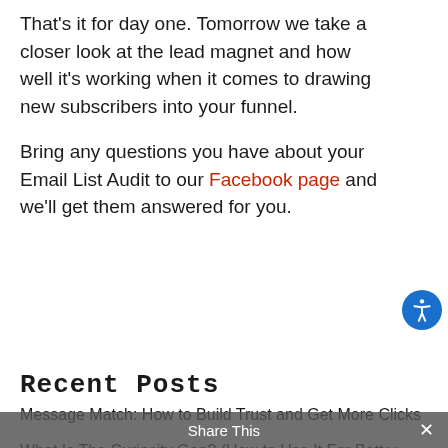That's it for day one. Tomorrow we take a closer look at the lead magnet and how well it's working when it comes to drawing new subscribers into your funnel.
Bring any questions you have about your Email List Audit to our Facebook page and we'll get them answered for you.
Recent Posts
Message Match: How to Build Trust and Get More Clicks
What Is The Curiosity Gap? (How to Use It For Better Email Subjects)
Share This ×